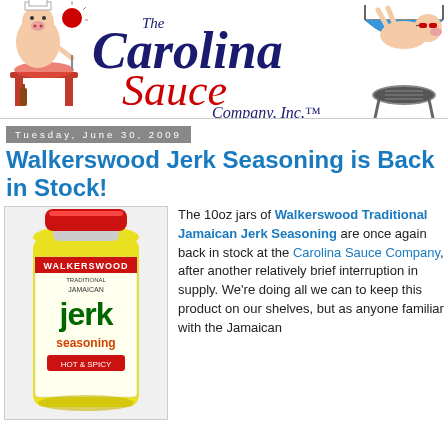The Carolina Sauce Company, Inc.
Tuesday, June 30, 2009
Walkerswood Jerk Seasoning is Back in Stock!
[Figure (photo): Jar of Walkerswood Traditional Jamaican Jerk Seasoning, hot and spicy, with red cap and colorful label]
The 10oz jars of Walkerswood Traditional Jamaican Jerk Seasoning are once again back in stock at the Carolina Sauce Company, after another relatively brief interruption in supply. We’re doing all we can to keep this product on our shelves, but as anyone familiar with the Jamaican